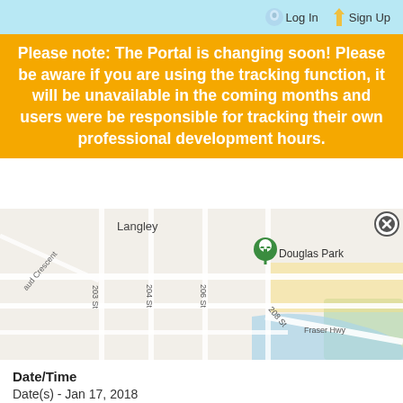Log In  Sign Up
Please note: The Portal is changing soon! Please be aware if you are using the tracking function, it will be unavailable in the coming months and users were be responsible for tracking their own professional development hours.
[Figure (map): Google Maps showing area around Langley with Douglas Park marked, streets including 203 St, 204 St, 206 St, 208 St, Fraser Hwy, and Gaud Crescent visible.]
Date/Time
Date(s) - Jan 17, 2018
7:00 pm - 9:00 pm
Location
Langley CCRR
Add to My Calendar
iCal